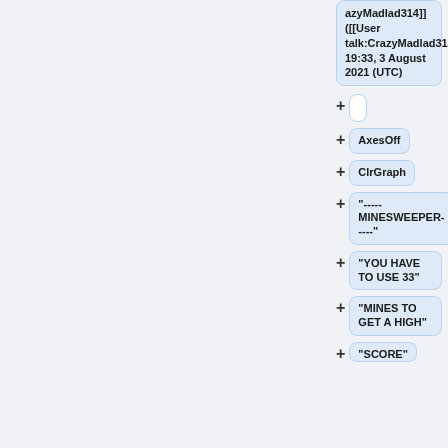azyMadlad314]] ([[User talk:CrazyMadlad314|talk]]) 19:33, 3 August 2021 (UTC)
AxesOff
ClrGraph
"-----MINESWEEPER-----"
"YOU HAVE TO USE 33"
"MINES TO GET A HIGH"
"SCORE"